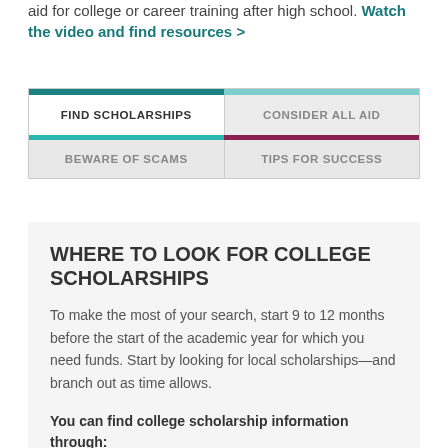aid for college or career training after high school. Watch the video and find resources >
| FIND SCHOLARSHIPS | CONSIDER ALL AID |
| --- | --- |
| BEWARE OF SCAMS | TIPS FOR SUCCESS |
WHERE TO LOOK FOR COLLEGE SCHOLARSHIPS
To make the most of your search, start 9 to 12 months before the start of the academic year for which you need funds. Start by looking for local scholarships—and branch out as time allows.
You can find college scholarship information through: